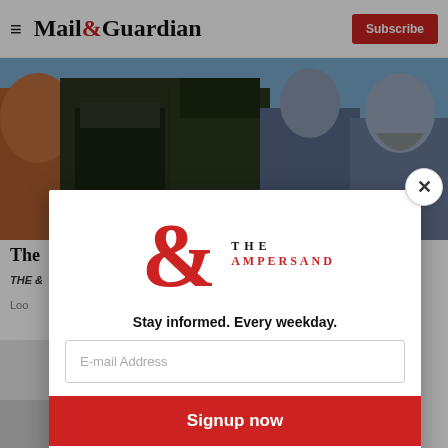Mail&Guardian | Subscribe
[Figure (illustration): Illustrated figures of armed soldiers/militants in military attire]
The...
THE &...
Loo...
[Figure (photo): Background photo, lower left area]
[Figure (logo): The Ampersand logo — large red ampersand symbol with 'THE AMPERSAND' text]
Stay informed. Every weekday.
E-mail Address
Signup now